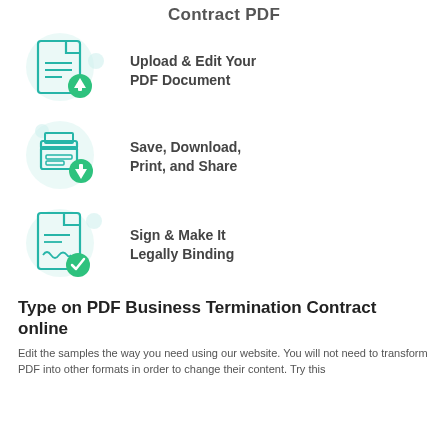Contract PDF
Upload & Edit Your PDF Document
Save, Download, Print, and Share
Sign & Make It Legally Binding
Type on PDF Business Termination Contract online
Edit the samples the way you need using our website. You will not need to transform PDF into other formats in order to change their content. Try this